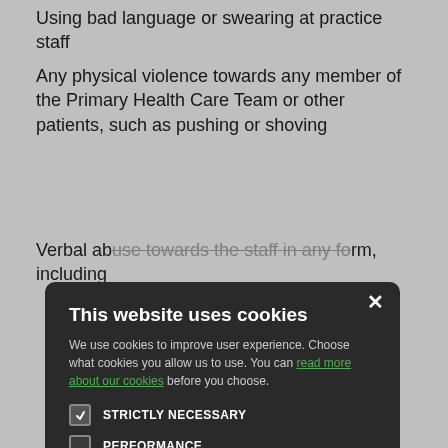Using bad language or swearing at practice staff
Any physical violence towards any member of the Primary Health Care Team or other patients, such as pushing or shoving
Verbal abuse towards the staff in any form, including ...
... t be tolerated ...
... e stress to staff ...
... 's premises, ...
... audulently ...
We ask you to treat your GPs and their staff ...
[Figure (screenshot): Cookie consent modal dialog over medical practice website content. Title: 'This website uses cookies'. Body: 'We use cookies to improve user experience. Choose what cookies you allow us to use. You can read more about our cookies before you choose.' Checkboxes: STRICTLY NECESSARY (checked), PERFORMANCE (unchecked), TARGETING (unchecked), FUNCTIONALITY (unchecked). Buttons: ACCEPT ALL (green), DECLINE ALL (outlined).]